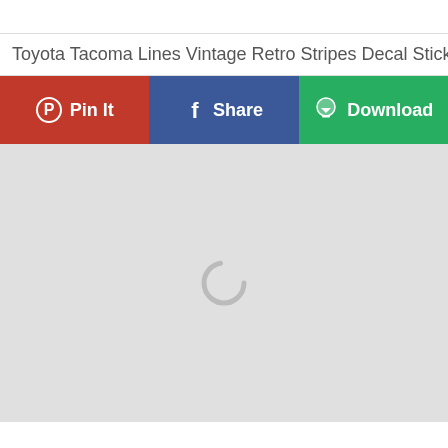Toyota Tacoma Lines Vintage Retro Stripes Decal Stick...
[Figure (screenshot): Three action buttons: red 'Pin It' button with Pinterest icon, blue 'Share' button with Facebook icon, and green 'Download' button with cloud-download icon]
[Figure (photo): Large light gray image loading area with a gray circular spinner/loading indicator in the center]